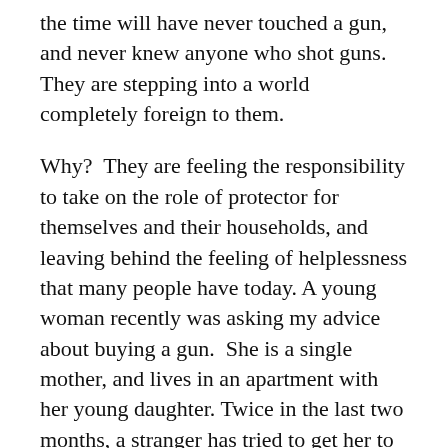the time will have never touched a gun, and never knew anyone who shot guns. They are stepping into a world completely foreign to them.
Why? They are feeling the responsibility to take on the role of protector for themselves and their households, and leaving behind the feeling of helplessness that many people have today. A young woman recently was asking my advice about buying a gun. She is a single mother, and lives in an apartment with her young daughter. Twice in the last two months, a stranger has tried to get her to open her door late at night, either because “her car lights were on”, or some similar ploy.